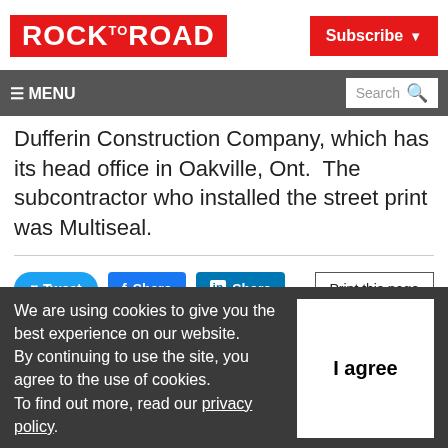[Figure (logo): Rock to Road logo on red background]
Subscribe
≡ MENU  Search
Dufferin Construction Company, which has its head office in Oakville, Ont.  The subcontractor who installed the street print was Multiseal.
Tweet  Share  Share  Print this page
We are using cookies to give you the best experience on our website.
By continuing to use the site, you agree to the use of cookies.
To find out more, read our privacy policy.